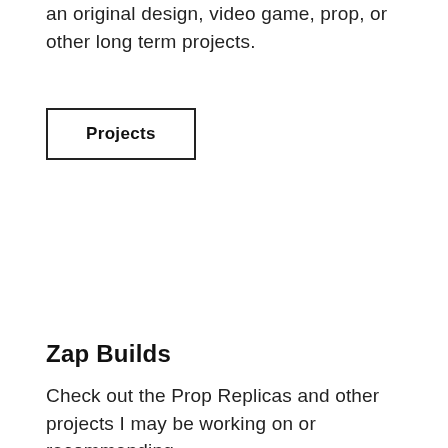an original design, video game, prop, or other long term projects.
Projects
Zap Builds
Check out the Prop Replicas and other projects I may be working on or recommending.